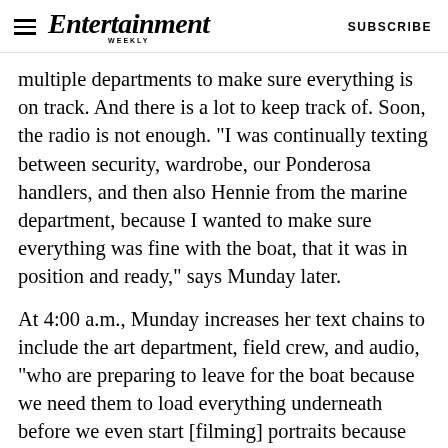Entertainment Weekly — SUBSCRIBE
multiple departments to make sure everything is on track. And there is a lot to keep track of. Soon, the radio is not enough. "I was continually texting between security, wardrobe, our Ponderosa handlers, and then also Hennie from the marine department, because I wanted to make sure everything was fine with the boat, that it was in position and ready," says Munday later.
At 4:00 a.m., Munday increases her text chains to include the art department, field crew, and audio, "who are preparing to leave for the boat because we need them to load everything underneath before we even start [filming] portraits because they can't do any of their work while we're